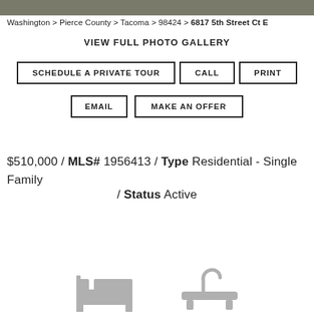[Figure (photo): Property photo bar at top of page]
Washington > Pierce County > Tacoma > 98424 > 6817 5th Street Ct E
VIEW FULL PHOTO GALLERY
SCHEDULE A PRIVATE TOUR
CALL
PRINT
EMAIL
MAKE AN OFFER
$510,000 / MLS# 1956413 / Type Residential - Single Family
/ Status Active
[Figure (illustration): Bed and bath icons at bottom of page]